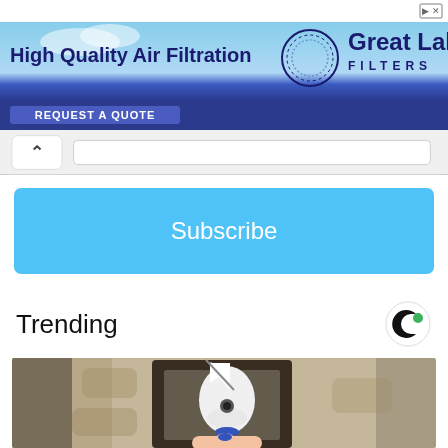[Figure (screenshot): Advertisement banner for Great Lakes Filters - High Quality Air Filtration with request a quote button]
[Figure (screenshot): Navigation bar with back chevron and search box]
Subscribe
Trending
[Figure (photo): Photo of an outdoor wall lantern with a smart camera/light bulb device inside, a hand touching the bottom]